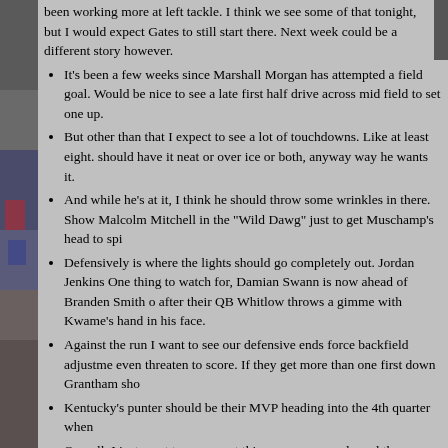[Figure (photo): Left column photo of football players/crowd, partially visible]
been working more at left tackle. I think we see some of that tonight, but I would expect Gates to still start there. Next week could be a different story however.
It's been a few weeks since Marshall Morgan has attempted a field goal. Would be nice to see a late first half drive across mid field to set one up.
But other than that I expect to see a lot of touchdowns. Like at least eight. should have it neat or over ice or both, anyway way he wants it.
And while he's at it, I think he should throw some wrinkles in there. Show Malcolm Mitchell in the "Wild Dawg" just to get Muschamp's head to spi
Defensively is where the lights should go completely out. Jordan Jenkins One thing to watch for, Damian Swann is now ahead of Branden Smith o after their QB Whitlow throws a gimme with Kwame's hand in his face.
Against the run I want to see our defensive ends force backfield adjustme even threaten to score. If they get more than one first down Grantham sho
Kentucky's punter should be their MVP heading into the 4th quarter when
Overall, I just want to see us put this game away early and then see a lot be happy.
Ok, I know some of you are saying to yourself "But this is the same Kentucky te the same team. The Gamecocks avoided a trap game because Kentucky is so ba